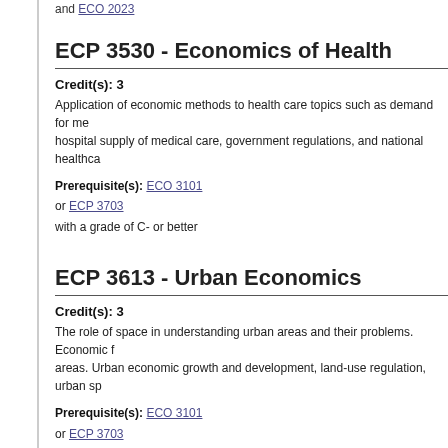and ECO 2023
ECP 3530 - Economics of Health
Credit(s): 3
Application of economic methods to health care topics such as demand for me... hospital supply of medical care, government regulations, and national healthca...
Prerequisite(s): ECO 3101 or ECP 3703 with a grade of C- or better
ECP 3613 - Urban Economics
Credit(s): 3
The role of space in understanding urban areas and their problems. Economic f... areas. Urban economic growth and development, land-use regulation, urban sp...
Prerequisite(s): ECO 3101 or ECP 3703